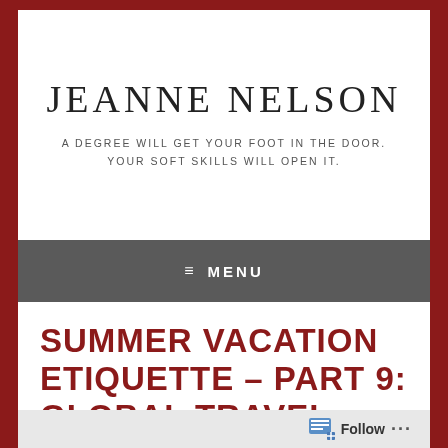JEANNE NELSON
A DEGREE WILL GET YOUR FOOT IN THE DOOR. YOUR SOFT SKILLS WILL OPEN IT.
≡ MENU
SUMMER VACATION ETIQUETTE – PART 9: GLOBAL TRAVEL
Follow ...